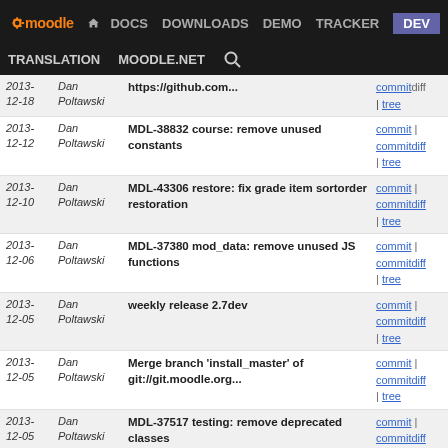moodle DOCS DOWNLOADS DEMO TRACKER DEV TRANSLATION MOODLE.NET
| Date | Author | Message | Links |
| --- | --- | --- | --- |
| 2013-12-18 | Dan Poltawski | https://github.com... | commit | commitdiff | tree |
| 2013-12-12 | Dan Poltawski | MDL-38832 course: remove unused constants | commit | commitdiff | tree |
| 2013-12-10 | Dan Poltawski | MDL-43306 restore: fix grade item sortorder restoration | commit | commitdiff | tree |
| 2013-12-06 | Dan Poltawski | MDL-37380 mod_data: remove unused JS functions | commit | commitdiff | tree |
| 2013-12-05 | Dan Poltawski | weekly release 2.7dev | commit | commitdiff | tree |
| 2013-12-05 | Dan Poltawski | Merge branch 'install_master' of git://git.moodle.org... | commit | commitdiff | tree |
| 2013-12-05 | Dan Poltawski | MDL-37517 testing: remove deprecated classes | commit | commitdiff | tree |
| 2013-12-05 | Dan Poltawski | MDL-40517 deprecatedlib: remove functions | commit | commitdiff | tree |
| 2013-12-04 | Dan Poltawski | Merge branch 'wip-MDL-40191-2-master' of git://github... | commit | commitdiff | tree |
| 2013-12-04 | Dan Poltawski | Merge branch 'wip-mdl-43028' of https://github.com... | commit | commitdiff | tree |
| 2013-... | Dan | Merge branch 'MDL... | commit |